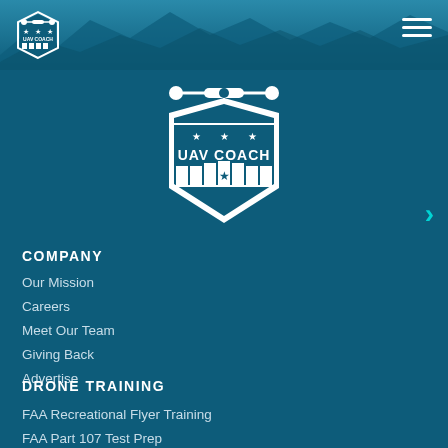[Figure (logo): UAV Coach small logo in top left corner, white shield with drone icon]
[Figure (logo): UAV Coach large centered logo, white shield with drone on top, stars, text UAV COACH]
COMPANY
Our Mission
Careers
Meet Our Team
Giving Back
Advertise
DRONE TRAINING
FAA Recreational Flyer Training
FAA Part 107 Test Prep